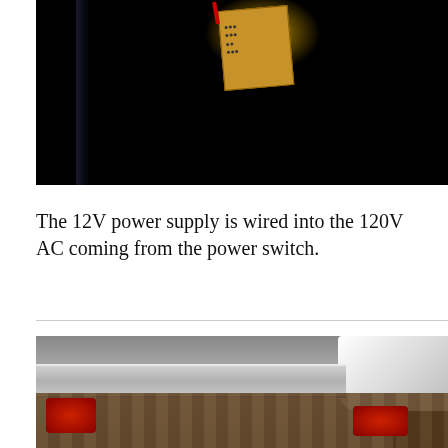[Figure (photo): Dark photograph showing a PCB circuit board with red wires mounted in a dark enclosure, with a vertical dark bar on the left side.]
The 12V power supply is wired into the 120V AC coming from the power switch.
[Figure (photo): Photo showing metal channel/strut being worked on, with red tools (likely a drill and clamp) on a wooden floor. A white bag and dark bag visible in upper right. Watermark reads 'How To: Engineering .com' in blue bubble overlay at top left.]